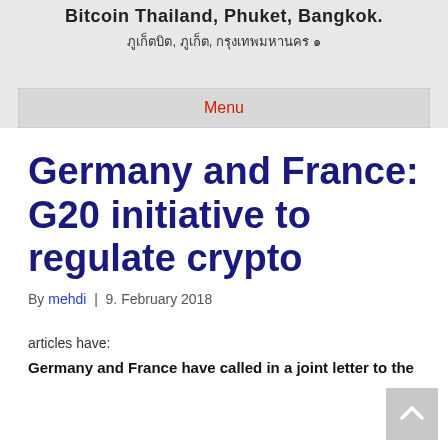Bitcoin Thailand, Phuket, Bangkok.
ภูเก็ตบิต, ภูเก็ต, กรุงเทพมหานคร ๑
Menu
Germany and France: G20 initiative to regulate crypto
By mehdi | 9. February 2018
articles have:
Germany and France have called in a joint letter to the